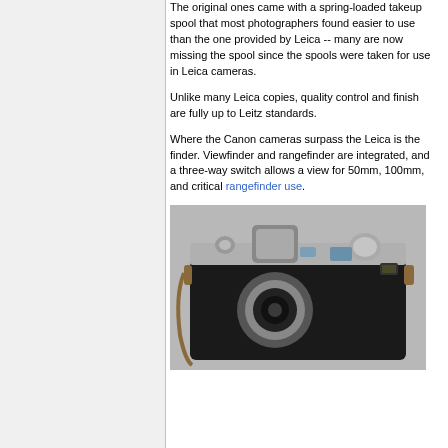The original ones came with a spring-loaded takeup spool that most photographers found easier to use than the one provided by Leica -- many are now missing the spool since the spools were taken for use in Leica cameras.
Unlike many Leica copies, quality control and finish are fully up to Leitz standards.
Where the Canon cameras surpass the Leica is the finder. Viewfinder and rangefinder are integrated, and a three-way switch allows a view for 50mm, 100mm, and critical rangefinder use.
[Figure (photo): Top-down view of a Canon rangefinder camera (black body with silver metal top plate and lens), showing the viewfinder, rangefinder window, shutter speed dial, and attached lens, with a brown leather strap visible.]